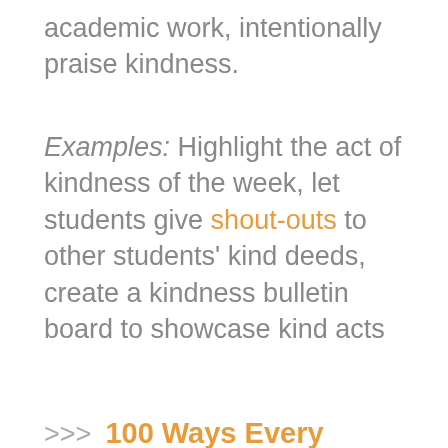academic work, intentionally praise kindness.
Examples: Highlight the act of kindness of the week, let students give shout-outs to other students' kind deeds, create a kindness bulletin board to showcase kind acts
>>> 100 Ways Every Middle Schooler Can Be Kind